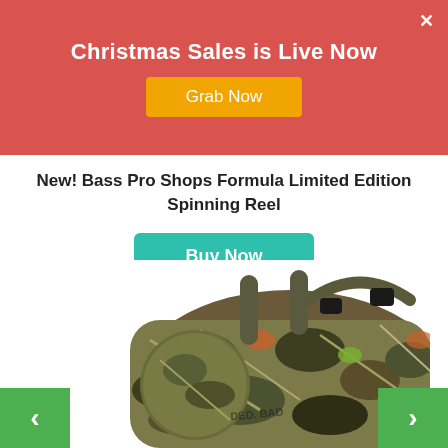Christmas Sales is Live Now
Grab Now
New! Bass Pro Shops Formula Limited Edition Spinning Reel
Buy Now
Basspro.com
[Figure (photo): Camouflage hunting/fishing hip pack bag with shoulder straps and buckles, shown on white background]